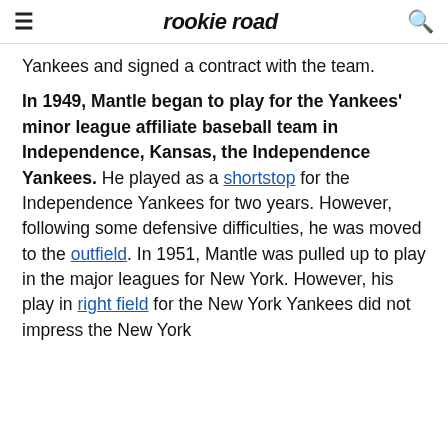rookie road
Yankees and signed a contract with the team.
In 1949, Mantle began to play for the Yankees' minor league affiliate baseball team in Independence, Kansas, the Independence Yankees. He played as a shortstop for the Independence Yankees for two years. However, following some defensive difficulties, he was moved to the outfield. In 1951, Mantle was pulled up to play in the major leagues for New York. However, his play in right field for the New York Yankees did not impress the New York